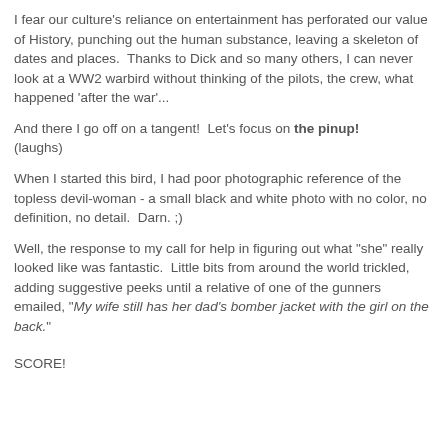I fear our culture's reliance on entertainment has perforated our value of History, punching out the human substance, leaving a skeleton of dates and places.  Thanks to Dick and so many others, I can never look at a WW2 warbird without thinking of the pilots, the crew, what happened 'after the war'...
And there I go off on a tangent!  Let's focus on the pinup! (laughs)
When I started this bird, I had poor photographic reference of the topless devil-woman - a small black and white photo with no color, no definition, no detail.  Darn. ;)
Well, the response to my call for help in figuring out what "she" really looked like was fantastic.  Little bits from around the world trickled, adding suggestive peeks until a relative of one of the gunners emailed, "My wife still has her dad's bomber jacket with the girl on the back."
SCORE!